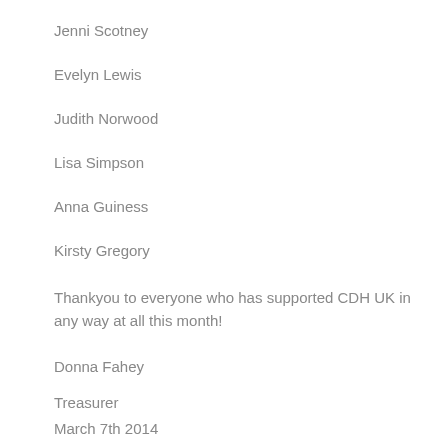Jenni Scotney
Evelyn Lewis
Judith Norwood
Lisa Simpson
Anna Guiness
Kirsty Gregory
Thankyou to everyone who has supported CDH UK in any way at all this month!
Donna Fahey
Treasurer
March 7th 2014